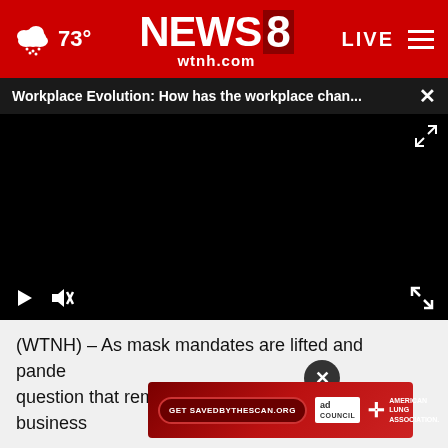NEWS8 wtnh.com | 73° | LIVE
Workplace Evolution: How has the workplace chan... ×
[Figure (screenshot): Black video player area with play button, mute button, and fullscreen button controls at bottom]
(WTNH) – As mask mandates are lifted and pande... question that remains is what happens to the business
[Figure (other): Ad overlay: Get SAVEDBYTHESCAN.ORG button, Ad Council badge, American Lung Association logo]